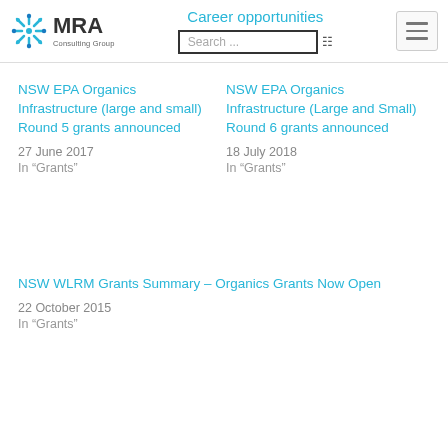MRA Consulting Group | Career opportunities | Search
NSW EPA Organics Infrastructure (large and small) Round 5 grants announced
27 June 2017
In "Grants"
NSW EPA Organics Infrastructure (Large and Small) Round 6 grants announced
18 July 2018
In "Grants"
NSW WLRM Grants Summary – Organics Grants Now Open
22 October 2015
In "Grants"